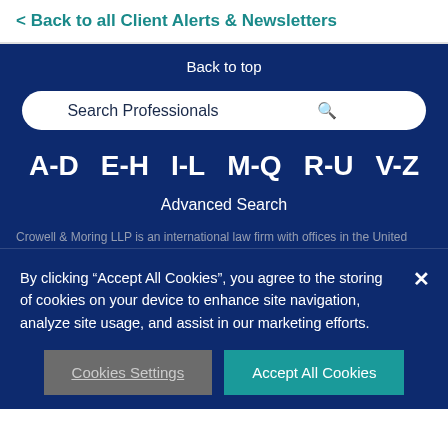< Back to all Client Alerts & Newsletters
Back to top
[Figure (other): Search Professionals input bar with magnifying glass icon]
A-D   E-H   I-L   M-Q   R-U   V-Z
Advanced Search
Crowell & Moring LLP is an international law firm with offices in the United
By clicking “Accept All Cookies”, you agree to the storing of cookies on your device to enhance site navigation, analyze site usage, and assist in our marketing efforts.
Cookies Settings
Accept All Cookies